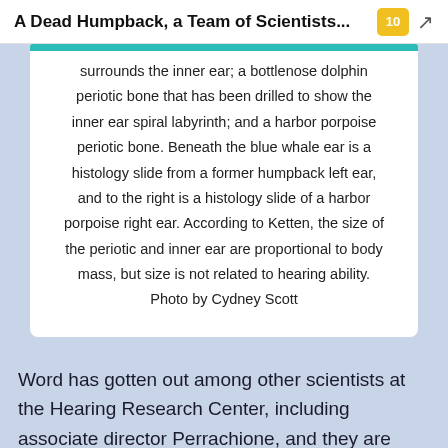A Dead Humpback, a Team of Scientists...
surrounds the inner ear; a bottlenose dolphin periotic bone that has been drilled to show the inner ear spiral labyrinth; and a harbor porpoise periotic bone. Beneath the blue whale ear is a histology slide from a former humpback left ear, and to the right is a histology slide of a harbor porpoise right ear. According to Ketten, the size of the periotic and inner ear are proportional to body mass, but size is not related to hearing ability. Photo by Cydney Scott
Word has gotten out among other scientists at the Hearing Research Center, including associate director Perrachione, and they are excited about this rare